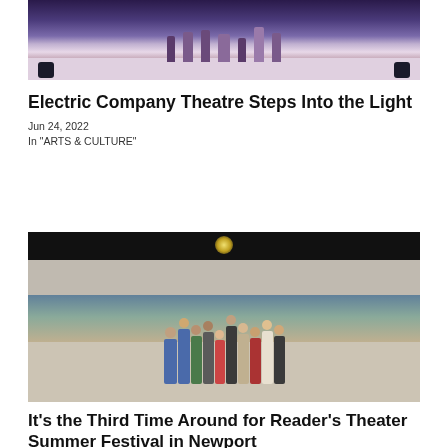[Figure (photo): Theater stage production photo showing performers in dramatic lighting with purple/blue tones]
Electric Company Theatre Steps Into the Light
Jun 24, 2022
In "ARTS & CULTURE"
[Figure (photo): Group of theater performers holding black binders/scripts on a theater stage, chandelier visible in background]
It's the Third Time Around for Reader's Theater Summer Festival in Newport